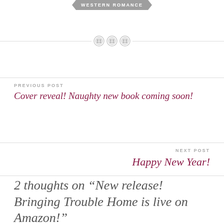WESTERN ROMANCE
[Figure (illustration): Three decorative button icons with dashed stitch lines arranged horizontally, flanked by horizontal divider lines on both sides]
PREVIOUS POST
Cover reveal! Naughty new book coming soon!
NEXT POST
Happy New Year!
2 thoughts on “New release! Bringing Trouble Home is live on Amazon!”